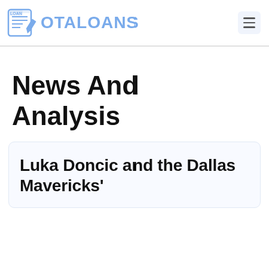OTALOANS
News And Analysis
Luka Doncic and the Dallas Mavericks'